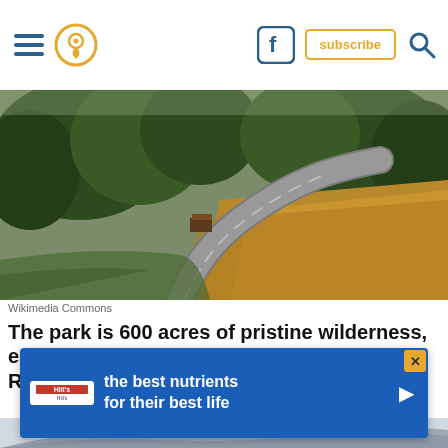Navigation header with hamburger menu, location pin icon, Facebook icon, subscribe button, and search icon
[Figure (photo): Aerial view of a winding road through a park with forest trees on the left and golden dry grass on the right, with a small building visible]
Wikimedia Commons
The park is 600 acres of pristine wilderness, established to help protect the Pogo Agie River.
[Figure (photo): Mountain valley landscape with rocky stream, mountains in background, and advertisement banner overlay]
[Figure (illustration): Hill's pet nutrition advertisement banner with text 'the best nutrients for their best life' on blue background]